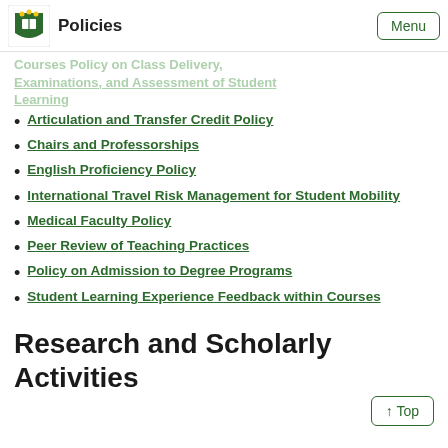Policies | Menu
Examinations, and Assessment of Student Learning
Articulation and Transfer Credit Policy
Chairs and Professorships
English Proficiency Policy
International Travel Risk Management for Student Mobility
Medical Faculty Policy
Peer Review of Teaching Practices
Policy on Admission to Degree Programs
Student Learning Experience Feedback within Courses
Research and Scholarly Activities